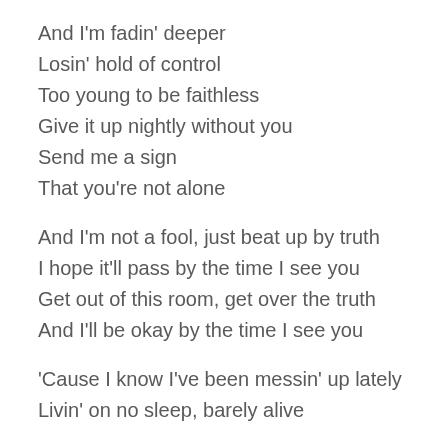And I'm fadin' deeper
Losin' hold of control
Too young to be faithless
Give it up nightly without you
Send me a sign
That you're not alone
And I'm not a fool, just beat up by truth
I hope it'll pass by the time I see you
Get out of this room, get over the truth
And I'll be okay by the time I see you
'Cause I know I've been messin' up lately
Livin' on no sleep, barely alive
I'm covered in chaos